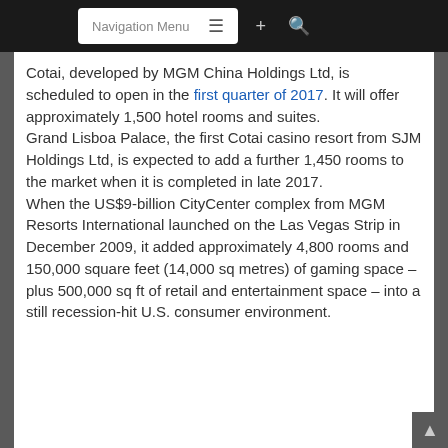Navigation Menu
Cotai, developed by MGM China Holdings Ltd, is scheduled to open in the first quarter of 2017. It will offer approximately 1,500 hotel rooms and suites.
Grand Lisboa Palace, the first Cotai casino resort from SJM Holdings Ltd, is expected to add a further 1,450 rooms to the market when it is completed in late 2017.
When the US$9-billion CityCenter complex from MGM Resorts International launched on the Las Vegas Strip in December 2009, it added approximately 4,800 rooms and 150,000 square feet (14,000 sq metres) of gaming space – plus 500,000 sq ft of retail and entertainment space – into a still recession-hit U.S. consumer environment.